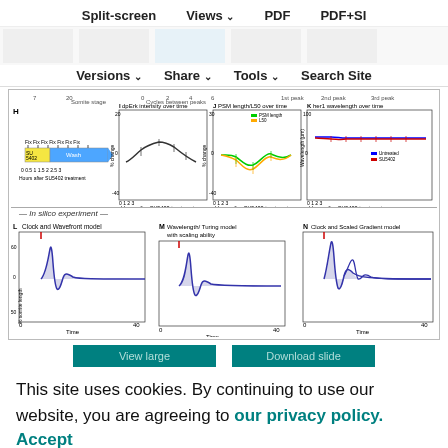Split-screen   Views   PDF   PDF+SI
Versions   Share   Tools   Search Site
[Figure (continuous-plot): Scientific figure panels H-K and L-N showing In silico experiments. H: SU5402 treatment timeline with fixation points. I: dpErk intensity over time (% change vs Hours after SU5402 treatment). J: PSM length/L50 over time showing PSM length (green) and L50 (orange). K: her1 wavelength over time showing Untreated (blue) and SU5402 (red). L: Clock and Wavefront model simulation. M: Wavelength/Turing model with scaling ability. N: Clock and Scaled Gradient model. All L-N show % somite length increase vs Time 0-40.]
This site uses cookies. By continuing to use our website, you are agreeing to our privacy policy.
Accept
Experimental validation of the clock and scaled gradient model. [A] Schematic of the outcome of the clock and scaled gradient